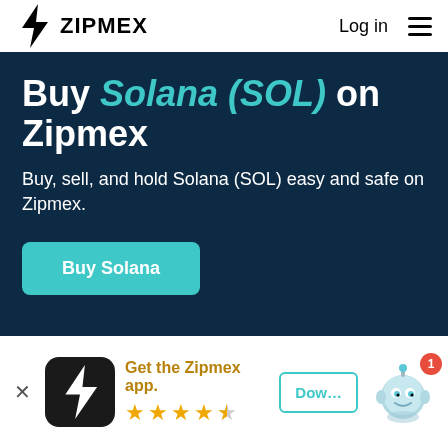ZIPMEX  Log in
Buy Solana (SOL) on Zipmex
Buy, sell, and hold Solana (SOL) easy and safe on Zipmex.
Buy Solana
[Figure (screenshot): App banner with Zipmex app icon, text 'Get the Zipmex app.' with 4.5 star rating, and a Download button, plus a robot mascot with notification badge showing 1]